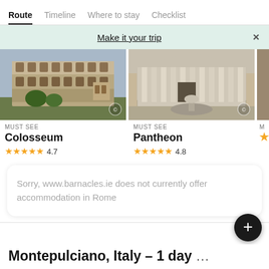Route | Timeline | Where to stay | Checklist
Make it your trip  ×
[Figure (photo): Aerial photo of the Colosseum in Rome with surrounding ruins and greenery]
MUST SEE
Colosseum
★★★★★ 4.7
[Figure (photo): Front facade of the Pantheon in Rome with fountain in the foreground]
MUST SEE
Pantheon
★★★★★ 4.8
Sorry, www.barnacles.ie does not currently offer accommodation in Rome
Montepulciano, Italy – 1 day …